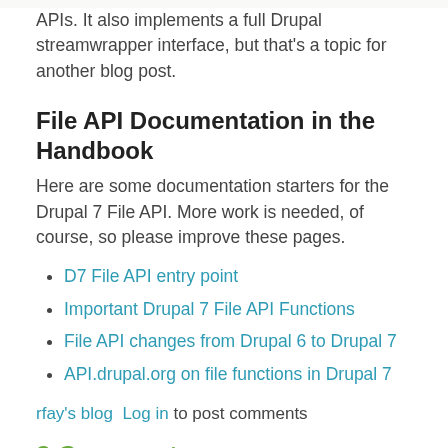APIs. It also implements a full Drupal streamwrapper interface, but that's a topic for another blog post.
File API Documentation in the Handbook
Here are some documentation starters for the Drupal 7 File API. More work is needed, of course, so please improve these pages.
D7 File API entry point
Important Drupal 7 File API Functions
File API changes from Drupal 6 to Drupal 7
API.drupal.org on file functions in Drupal 7
rfay's blog  Log in to post comments
2 Comments